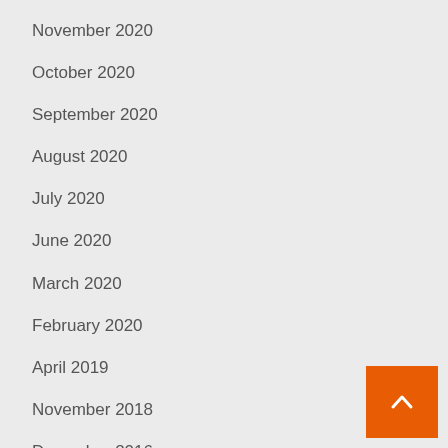November 2020
October 2020
September 2020
August 2020
July 2020
June 2020
March 2020
February 2020
April 2019
November 2018
December 2016
July 2016